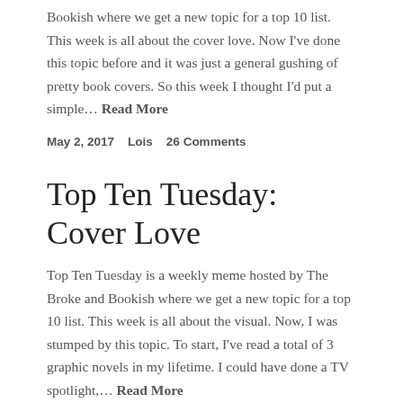Bookish where we get a new topic for a top 10 list. This week is all about the cover love. Now I've done this topic before and it was just a general gushing of pretty book covers. So this week I thought I'd put a simple… Read More
May 2, 2017    Lois    26 Comments
Top Ten Tuesday: Cover Love
Top Ten Tuesday is a weekly meme hosted by The Broke and Bookish where we get a new topic for a top 10 list.  This week is all about the visual. Now, I was stumped by this topic. To start, I've read a total of 3 graphic novels in my lifetime. I could have done a TV spotlight,… Read More
January 31, 2017    Lois    26 Comments
Top Ten Tuesday: Books I